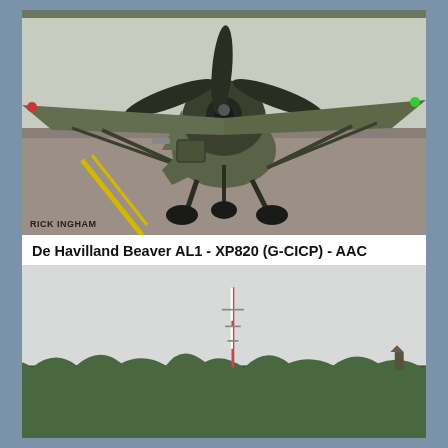[Figure (photo): De Havilland Beaver AL1 aircraft (XP820, G-CICP) taxiing on tarmac, front view showing radial engine and high-wing configuration, olive/military green livery, with photographer credit RICK INGHAM in lower left]
De Havilland Beaver AL1 - XP820 (G-CICP) - AAC
[Figure (photo): Landscape photo showing treeline (dense green trees) across the lower third of the frame, with a tall radio/communication mast visible above the trees against a pale overcast sky]